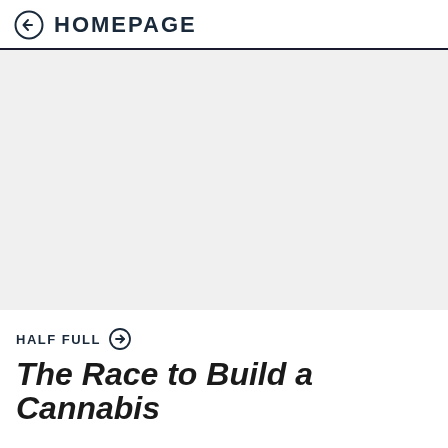HOMEPAGE
[Figure (photo): Large light grey placeholder image area]
HALF FULL
The Race to Build a Cannabis